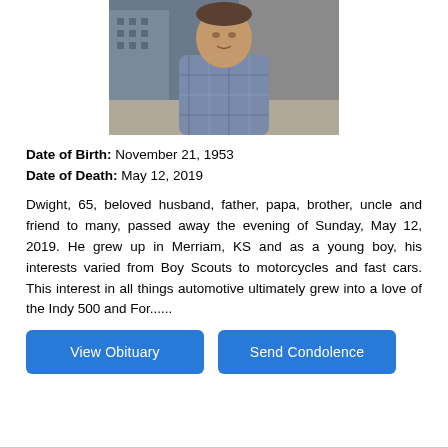[Figure (photo): Portrait photo of a man wearing a plaid shirt, seated outdoors with a building visible in the background.]
Date of Birth: November 21, 1953
Date of Death: May 12, 2019
Dwight, 65, beloved husband, father, papa, brother, uncle and friend to many, passed away the evening of Sunday, May 12, 2019. He grew up in Merriam, KS and as a young boy, his interests varied from Boy Scouts to motorcycles and fast cars. This interest in all things automotive ultimately grew into a love of the Indy 500 and For......
[Figure (other): Two buttons: 'View Obituary' and 'Send Condolence']